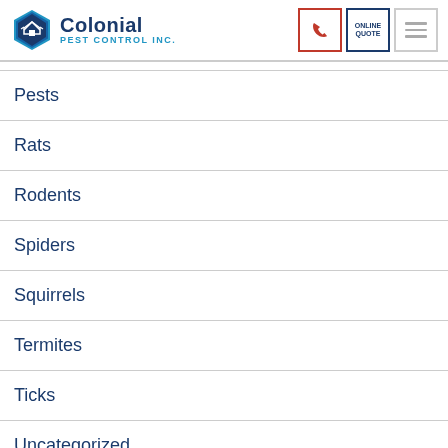Colonial Pest Control Inc.
Pests
Rats
Rodents
Spiders
Squirrels
Termites
Ticks
Uncategorized
Wasps/ Bees